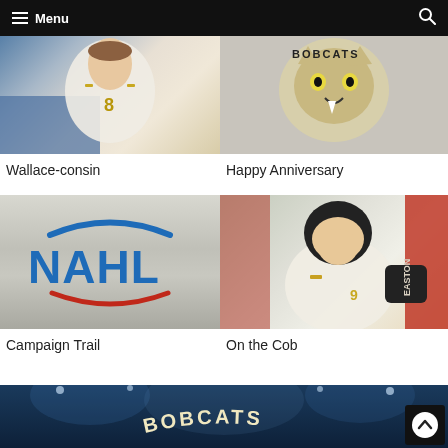Menu
[Figure (photo): Hockey player wearing white jersey with number 8]
Wallace-consin
[Figure (photo): Bobcats logo - wild cat mascot on wall]
Happy Anniversary
[Figure (logo): NAHL logo on metallic silver background]
Campaign Trail
[Figure (photo): Hockey player in white and gold jersey leaning forward, wearing black helmet, Easton gloves]
On the Cob
[Figure (photo): Bobcats banner/advertisement with stadium lighting background]